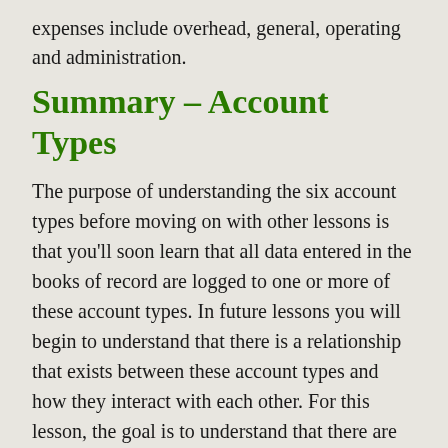expenses include overhead, general, operating and administration.
Summary – Account Types
The purpose of understanding the six account types before moving on with other lessons is that you'll soon learn that all data entered in the books of record are logged to one or more of these account types. In future lessons you will begin to understand that there is a relationship that exists between these account types and how they interact with each other. For this lesson, the goal is to understand that there are only six account types and no more. Only six!
1. Assets
2. Liabilities
3. Equity